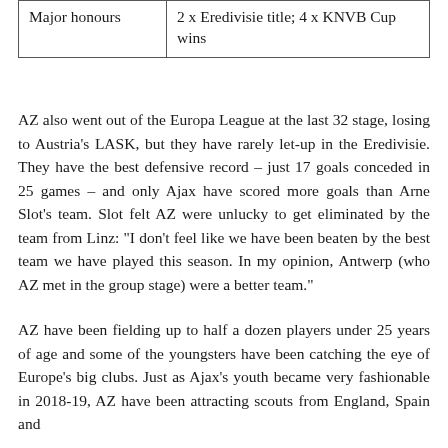| Major honours | 2 x Eredivisie title; 4 x KNVB Cup wins |
AZ also went out of the Europa League at the last 32 stage, losing to Austria's LASK, but they have rarely let-up in the Eredivisie. They have the best defensive record – just 17 goals conceded in 25 games – and only Ajax have scored more goals than Arne Slot's team. Slot felt AZ were unlucky to get eliminated by the team from Linz: "I don't feel like we have been beaten by the best team we have played this season. In my opinion, Antwerp (who AZ met in the group stage) were a better team."
AZ have been fielding up to half a dozen players under 25 years of age and some of the youngsters have been catching the eye of Europe's big clubs. Just as Ajax's youth became very fashionable in 2018-19, AZ have been attracting scouts from England, Spain and